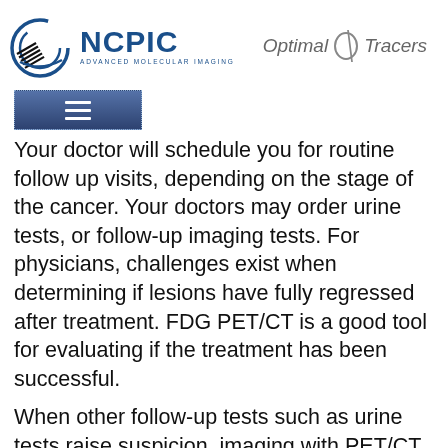[Figure (logo): NCPIC Advanced Molecular Imaging logo with circular graphic and Optimal Tracers logo]
[Figure (other): Navigation hamburger menu button with dark blue gradient background]
Your doctor will schedule you for routine follow up visits, depending on the stage of the cancer. Your doctors may order urine tests, or follow-up imaging tests. For physicians, challenges exist when determining if lesions have fully regressed after treatment. FDG PET/CT is a good tool for evaluating if the treatment has been successful.
When other follow-up tests such as urine tests raise suspicion, imaging with PET/CT can help the physician determine if the cancer cells have